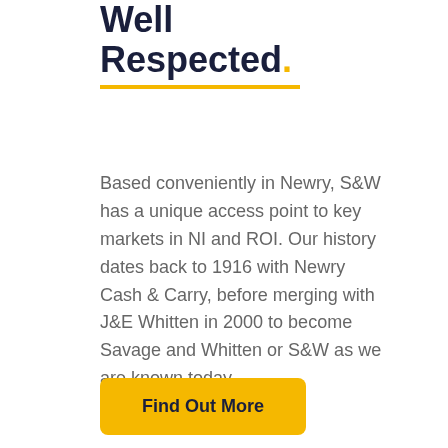Well Respected.
Based conveniently in Newry, S&W has a unique access point to key markets in NI and ROI. Our history dates back to 1916 with Newry Cash & Carry, before merging with J&E Whitten in 2000 to become Savage and Whitten or S&W as we are known today..
Find Out More